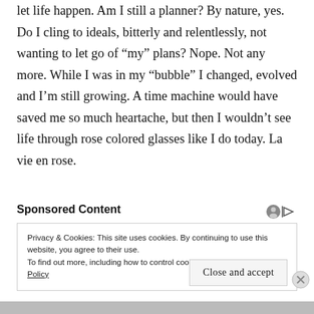let life happen. Am I still a planner? By nature, yes. Do I cling to ideals, bitterly and relentlessly, not wanting to let go of "my" plans? Nope. Not any more. While I was in my "bubble" I changed, evolved and I'm still growing. A time machine would have saved me so much heartache, but then I wouldn't see life through rose colored glasses like I do today. La vie en rose.
Sponsored Content
Privacy & Cookies: This site uses cookies. By continuing to use this website, you agree to their use.
To find out more, including how to control cookies, see here: Cookie Policy
Close and accept